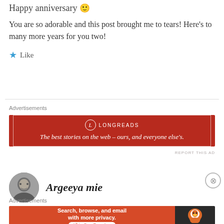Happy anniversary 🙂
You are so adorable and this post brought me to tears! Here's to many more years for you two!
★ Like
Advertisements
[Figure (other): Longreads advertisement banner: dark red background with logo and tagline 'The best stories on the web – ours, and everyone else's.']
REPORT THIS AD
[Figure (photo): Circular avatar photo of a person]
Argeeya mie
Advertisements
[Figure (other): DuckDuckGo advertisement: orange left panel with text 'Search, browse, and email with more privacy. All in One Free App' and dark right panel with duck logo and DuckDuckGo branding.]
REPORT THIS AD